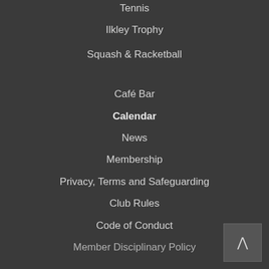Tennis
Ilkley Trophy
Squash & Racketball
Café Bar
Calendar
News
Membership
Privacy, Terms and Safeguarding
Club Rules
Code of Conduct
Member Disciplinary Policy